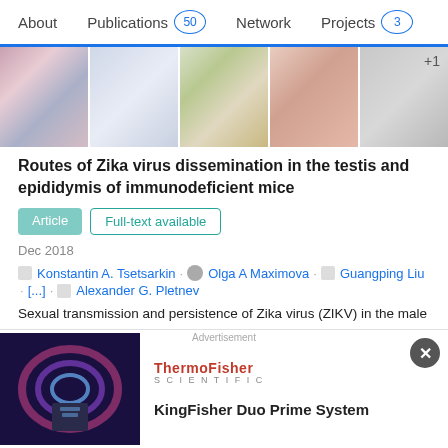About  Publications 50  Network  Projects 3
[Figure (photo): Strip of 5 microscopy/chart images from a scientific publication about Zika virus, with +1 overlay on last image]
Routes of Zika virus dissemination in the testis and epididymis of immunodeficient mice
Article  Full-text available
Dec 2018
Konstantin A. Tsetsarkin · Olga A Maximova · Guangping Liu · [...] · Alexander G. Pletnev
Sexual transmission and persistence of Zika virus (ZIKV) in the male reproductive tract (MRT) poses new challenges for controlling virus outbreaks and developing live-attenuated vaccines. To elucidate routes of ZIKV dissemination in the MRT,
[Figure (photo): ThermoFisher Scientific advertisement banner showing KingFisher Duo Prime System with lab equipment image on left]
Advertisement
KingFisher Duo Prime System